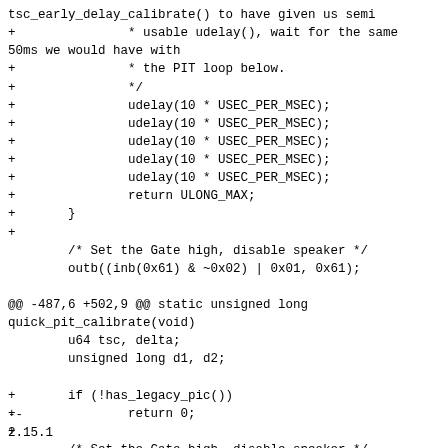tsc_early_delay_calibrate() to have given us semi
+               * usable udelay(), wait for the same 50ms we would have with
+               * the PIT loop below.
+               */
+               udelay(10 * USEC_PER_MSEC);
+               udelay(10 * USEC_PER_MSEC);
+               udelay(10 * USEC_PER_MSEC);
+               udelay(10 * USEC_PER_MSEC);
+               udelay(10 * USEC_PER_MSEC);
+               return ULONG_MAX;
+       }
+
        /* Set the Gate high, disable speaker */
        outb((inb(0x61) & ~0x02) | 0x01, 0x61);

@@ -487,6 +502,9 @@ static unsigned long quick_pit_calibrate(void)
        u64 tsc, delta;
        unsigned long d1, d2;

+       if (!has_legacy_pic())
+               return 0;
+
        /* Set the Gate high, disable speaker */
        outb((inb(0x61) & ~0x02) | 0x01, 0x61);
--
2.15.1